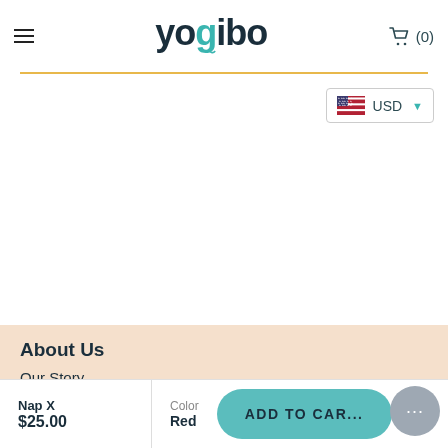yogibo — (0)
[Figure (logo): Yogibo logo with teal accent on letter o and tilde underneath]
[Figure (other): US flag currency selector showing USD with dropdown chevron]
About Us
Our Story
Why Yogibo
Nap X $25.00 | Color Red | ADD TO CART